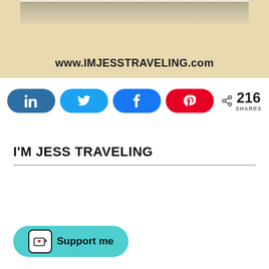[Figure (photo): Blog header image showing www.IMJESSTRAVELING.com text on a tan/beige background with a small photo at the top]
[Figure (infographic): Social share buttons row: LinkedIn (dark blue), Twitter (light blue), Facebook (blue), Pinterest (red), and a share count showing 216 SHARES]
I'M JESS TRAVELING
[Figure (other): Support me button with a Ko-fi cup icon on a teal/cyan rounded pill background]